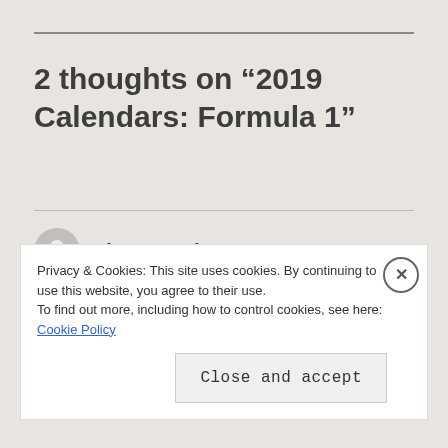2 thoughts on “2019 Calendars: Formula 1”
Liam Deschamp
12 January 2019 at 1:13 pm
Can you add p1 p2 p3 for f1 ? And make the
Privacy & Cookies: This site uses cookies. By continuing to use this website, you agree to their use.
To find out more, including how to control cookies, see here: Cookie Policy